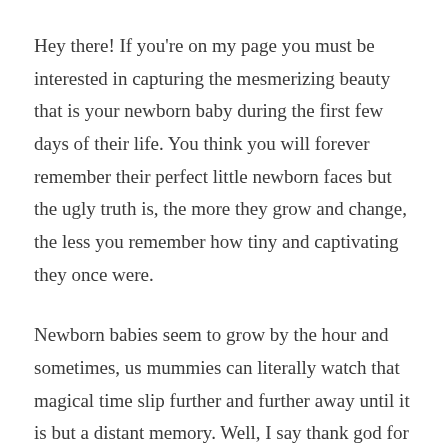Hey there! If you're on my page you must be interested in capturing the mesmerizing beauty that is your newborn baby during the first few days of their life. You think you will forever remember their perfect little newborn faces but the ugly truth is, the more they grow and change, the less you remember how tiny and captivating they once were.
Newborn babies seem to grow by the hour and sometimes, us mummies can literally watch that magical time slip further and further away until it is but a distant memory. Well, I say thank god for technology!